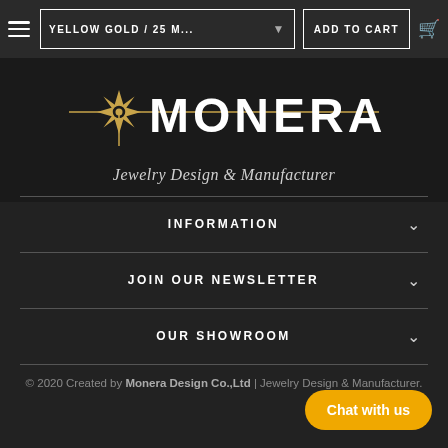YELLOW GOLD / 25 M... | ADD TO CART
[Figure (logo): MONERA Jewelry Design & Manufacturer logo with gold star/compass design]
INFORMATION
JOIN OUR NEWSLETTER
OUR SHOWROOM
© 2020 Created by Monera Design Co.,Ltd | Jewelry Design & Manufacturer.
Chat with us